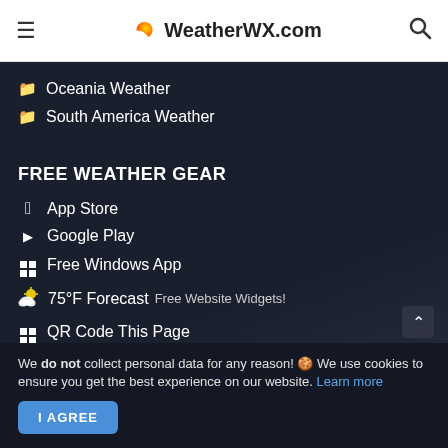WeatherWX.com
Oceania Weather
South America Weather
FREE WEATHER GEAR
App Store
Google Play
Free Windows App
75°F Forecast  Free Website Widgets!
QR Code This Page
We do not collect personal data for any reason! 🍪 We use cookies to ensure you get the best experience on our website. Learn more
I AGREE